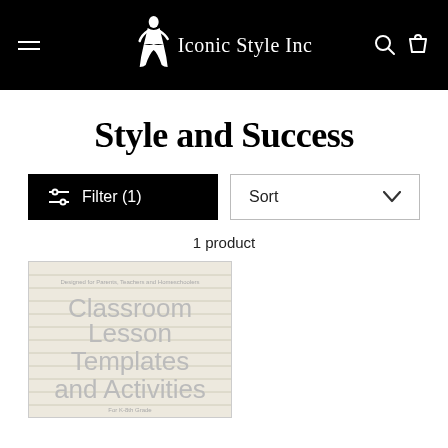Iconic Style Inc
Style and Success
Filter (1)
Sort
1 product
[Figure (illustration): Book cover for 'Classroom Lesson Templates and Activities', designed for Parents, Teachers and Homeschoolers, for K-8th Grade, shown on lined paper background with light gray text.]